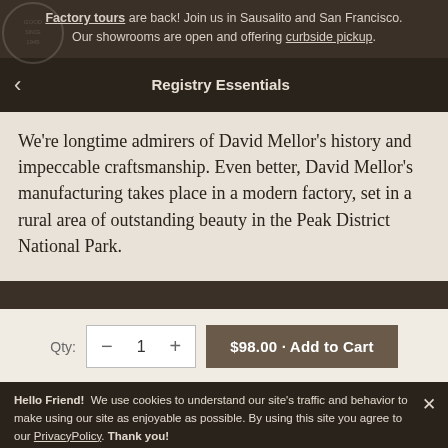Factory tours are back! Join us in Sausalito and San Francisco. Our showrooms are open and offering curbside pickup.
Registry Essentials
We're longtime admirers of David Mellor's history and impeccable craftsmanship. Even better, David Mellor's manufacturing takes place in a modern factory, set in a rural area of outstanding beauty in the Peak District National Park.
Qty: − 1 + $98.00 · Add to Cart
Hello Friend! We use cookies to understand our site's traffic and behavior to make using our site as enjoyable as possible. By using this site you agree to our PrivacyPolicy. Thank you!